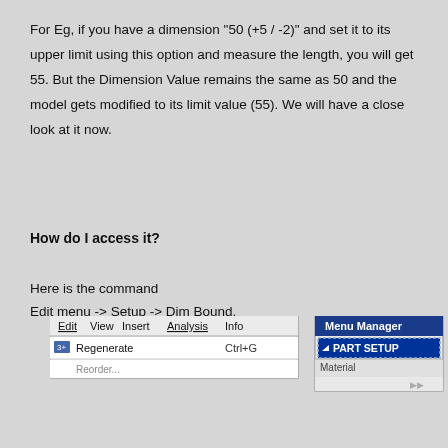For Eg, if you have a dimension "50 (+5 / -2)" and set it to its upper limit using this option and measure the length, you will get 55. But the Dimension Value remains the same as 50 and the model gets modified to its limit value (55). We will have a close look at it now.
How do I access it?
Here is the command
Edit menu -> Setup -> Dim Bound.
[Figure (screenshot): Screenshot showing a software menu bar with Edit, View, Insert, Analysis, Info options and a Regenerate menu item with Ctrl+G shortcut, alongside a Menu Manager panel showing PART SETUP option and Material row.]